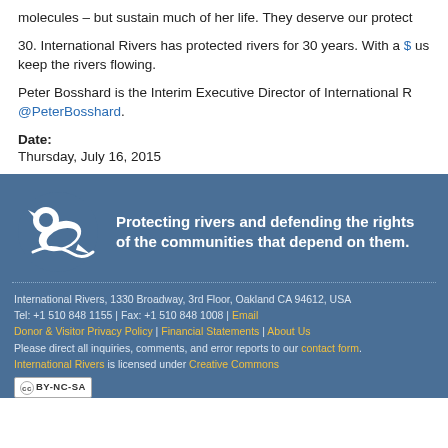molecules – but sustain much of her life. They deserve our protect
30. International Rivers has protected rivers for 30 years. With a $ [donation link] us keep the rivers flowing.
Peter Bosshard is the Interim Executive Director of International R @PeterBosshard.
Date:
Thursday, July 16, 2015
[Figure (logo): International Rivers logo — white bird/river shape on blue background]
Protecting rivers and defending the rights of the communities that depend on them.
International Rivers, 1330 Broadway, 3rd Floor, Oakland CA 94612, USA
Tel: +1 510 848 1155 | Fax: +1 510 848 1008 | Email
Donor & Visitor Privacy Policy | Financial Statements | About Us
Please direct all inquiries, comments, and error reports to our contact form.
International Rivers is licensed under Creative Commons
[CC BY-NC-SA badge]